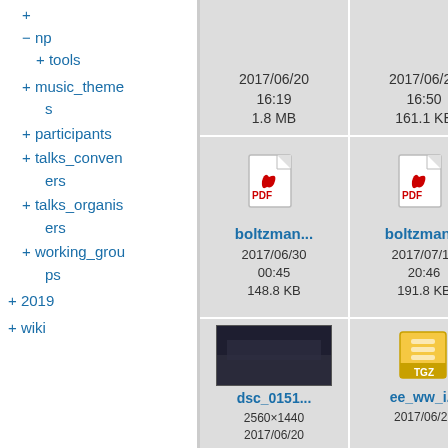− np
+ tools
+ music_themes
+ participants
+ talks_conveners
+ talks_organisers
+ working_groups
+ 2019
+ wiki
[Figure (screenshot): File grid showing file entries with names boltzman..., boltzman..., dsc_0151..., ee_ww_i... with metadata dates and sizes]
2017/06/20 16:19
1.8 MB
2017/06/20 16:50
161.1 KB
boltzman...
2017/06/30 00:45
148.8 KB
boltzman...
2017/07/12 20:46
191.8 KB
dsc_0151...
2560×1440
2017/06/20
ee_ww_i...
2017/06/21